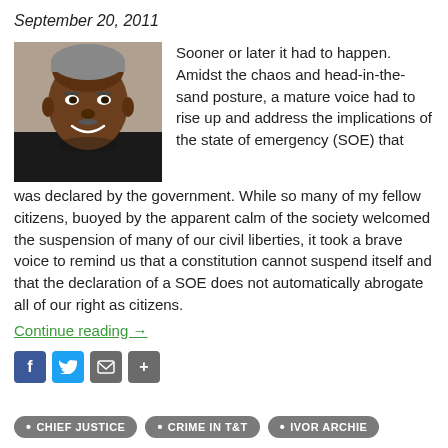September 20, 2011
[Figure (photo): Portrait photo of a middle-aged Black man smiling, wearing a dark jacket, gray hair]
Sooner or later it had to happen. Amidst the chaos and head-in-the-sand posture, a mature voice had to rise up and address the implications of the state of emergency (SOE) that was declared by the government. While so many of my fellow citizens, buoyed by the apparent calm of the society welcomed the suspension of many of our civil liberties, it took a brave voice to remind us that a constitution cannot suspend itself and that the declaration of a SOE does not automatically abrogate all of our right as citizens.
Continue reading →
[Figure (infographic): Social share icons: Facebook (blue), Twitter (blue), Email (gray), Plus (gray)]
• CHIEF JUSTICE
• CRIME IN T&T
• IVOR ARCHIE